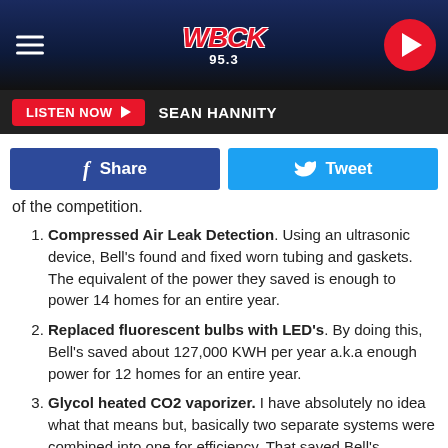[Figure (screenshot): WBCK 95.3 FM radio station header with logo, hamburger menu, and play button on dark blue striped background]
LISTEN NOW ▶  SEAN HANNITY
[Figure (screenshot): Social share buttons: Facebook Share and Twitter Tweet]
of the competition.
Compressed Air Leak Detection. Using an ultrasonic device, Bell's found and fixed worn tubing and gaskets. The equivalent of the power they saved is enough to power 14 homes for an entire year.
Replaced fluorescent bulbs with LED's. By doing this, Bell's saved about 127,000 KWH per year a.k.a enough power for 12 homes for an entire year.
Glycol heated CO2 vaporizer. I have absolutely no idea what that means but, basically two separate systems were combined into one for efficiency. That saved Bell's 190,000 KWH or enough for 17 homes for an entire year.